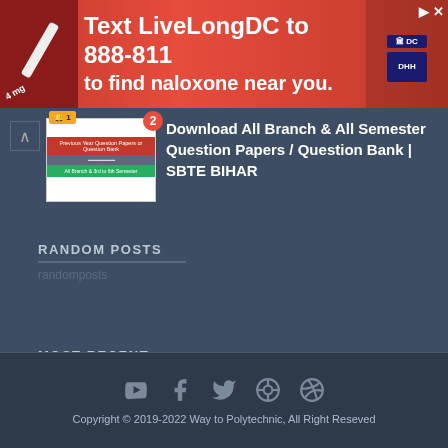[Figure (screenshot): Red advertisement banner: Text LiveLongDC to 888-811 to find naloxone near you, with DC and DHH logos]
Download All Branch & All Semester Question Papers / Question Bank | SBTE BIHAR
RANDOM POSTS
randomposts
MOST RECENT
recentposts
[Figure (logo): DMCA PROTECTED badge]
Copyright © 2019-2022 Way to Polytechnic, All Right Reseved